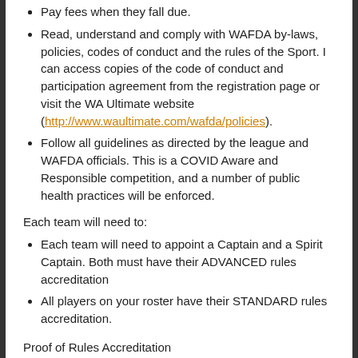Pay fees when they fall due.
Read, understand and comply with WAFDA by-laws, policies, codes of conduct and the rules of the Sport. I can access copies of the code of conduct and participation agreement from the registration page or visit the WA Ultimate website (http://www.waultimate.com/wafda/policies).
Follow all guidelines as directed by the league and WAFDA officials. This is a COVID Aware and Responsible competition, and a number of public health practices will be enforced.
Each team will need to:
Each team will need to appoint a Captain and a Spirit Captain. Both must have their ADVANCED rules accreditation
All players on your roster have their STANDARD rules accreditation.
Proof of Rules Accreditation
Your team must provide proof of rules accreditation by the deadline. It is suggested that the Spirit Captain collect